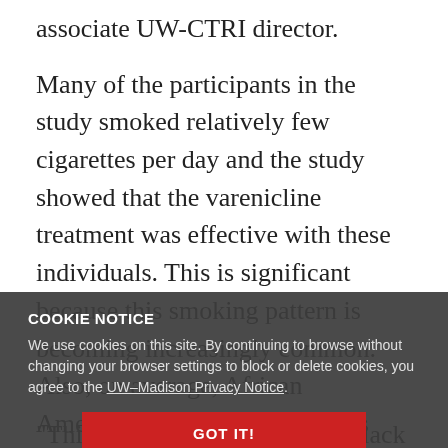associate UW-CTRI director.
Many of the participants in the study smoked relatively few cigarettes per day and the study showed that the varenicline treatment was effective with these individuals. This is significant because this smoking pattern is becoming increasingly common. Also, on average, African Americans tend not to smoke as heavily as White individuals, noted co-author Dr. Jessica Burris
COOKIE NOTICE
We use cookies on this site. By continuing to browse without changing your browser settings to block or delete cookies, you agree to the UW–Madison Privacy Notice.
"This may play a role in why Black patients tend to have low use of medications we know can help them quit